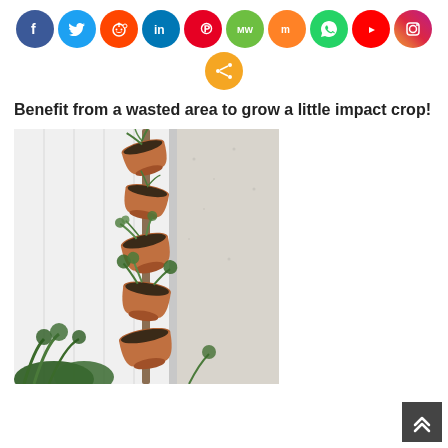[Figure (infographic): Row of social media icon circles: Facebook (blue), Twitter (light blue), Reddit (orange-red), LinkedIn (blue), Pinterest (red), MW (green), Mix (orange), WhatsApp (green), YouTube (red), Instagram (gradient), and a share button (orange)]
Benefit from a wasted area to grow a little impact crop!
[Figure (photo): Stacked terra cotta pots threaded on a vertical pole against a white wall, each pot tilted and containing green plants/herbs, creating a vertical garden tower]
[Figure (infographic): Dark grey scroll-to-top button with double upward chevron arrows in bottom right corner]